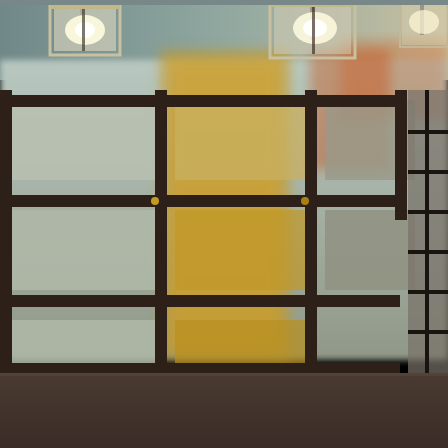[Figure (photo): Interior architectural photograph showing decorative glass pendant light fixtures hanging from the ceiling in the foreground, with a geometric grid-patterned glass partition wall in the background. The partition features dark brown/bronze metal frames creating rectangular panels of frosted and clear glass. Behind the partition is a warm amber/orange illuminated space. On the lower right of the glass partition is a small information 'i' logo with the word 'OPEN' beneath it in white text. The bottom portion of the image shows a dark brown reception desk or counter surface. A dotted white line runs horizontally across the lower portion of the image.]